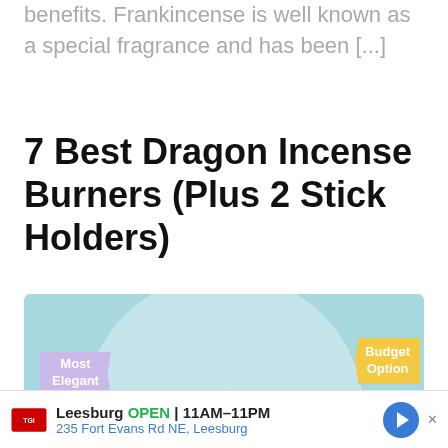benefits. Frankincense is well known as a special fragrance and has been [...]
7 Best Dragon Incense Burners (Plus 2 Stick Holders)
[Figure (photo): Image showing three dragon incense burner figurines against a light blue background with a white circle. Left dragon has a 'Most Elegant' purple ribbon badge, right dragon has a 'Budget Option' yellow ribbon badge. A faint vertical divider separates the middle and right figurines.]
Leesburg OPEN 11AM–11PM 235 Fort Evans Rd NE, Leesburg